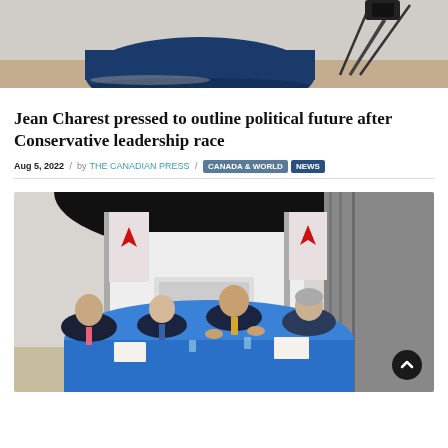[Figure (photo): Top-down view of a blue-draped round table in an empty studio set with lighting equipment and a tripod visible in the upper right corner, hardwood floor visible]
Jean Charest pressed to outline political future after Conservative leadership race
Aug 5, 2022 / by THE CANADIAN PRESS / CANADA & WORLD NEWS
[Figure (photo): Four men in suits seated around a round table covered with a blue cloth, with Canadian flags in the background and a large black reflector. One man in the center with a yellow tie is speaking with hands raised. A scroll-up button is visible in the lower right corner.]